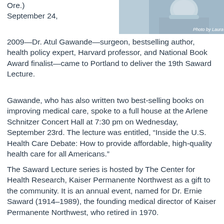[Figure (photo): Photo of a surgeon/doctor in scrubs and mask, partially visible in upper right corner. Photo credit: Laura Hanifin]
Ore.)
September 24, 2009—Dr. Atul Gawande—surgeon, bestselling author, health policy expert, Harvard professor, and National Book Award finalist—came to Portland to deliver the 19th Saward Lecture.
Gawande, who has also written two best-selling books on improving medical care, spoke to a full house at the Arlene Schnitzer Concert Hall at 7:30 pm on Wednesday, September 23rd. The lecture was entitled, “Inside the U.S. Health Care Debate: How to provide affordable, high-quality health care for all Americans.”
The Saward Lecture series is hosted by The Center for Health Research, Kaiser Permanente Northwest as a gift to the community. It is an annual event, named for Dr. Ernie Saward (1914–1989), the founding medical director of Kaiser Permanente Northwest, who retired in 1970.